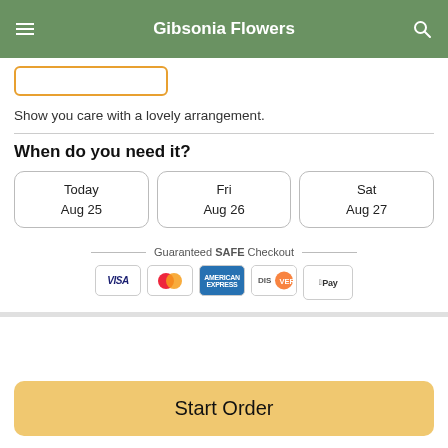Gibsonia Flowers
Show you care with a lovely arrangement.
When do you need it?
Today
Aug 25
Fri
Aug 26
Sat
Aug 27
Guaranteed SAFE Checkout
[Figure (other): Payment method icons: VISA, Mastercard, American Express, Discover, Apple Pay]
Start Order